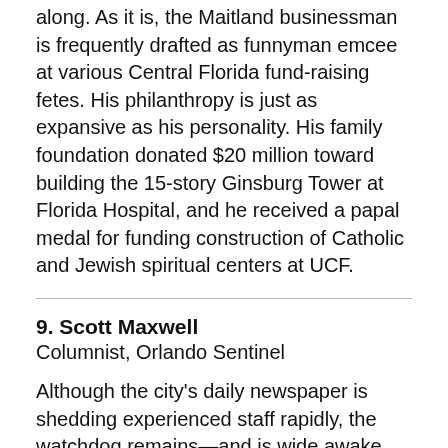along. As it is, the Maitland businessman is frequently drafted as funnyman emcee at various Central Florida fund-raising fetes. His philanthropy is just as expansive as his personality. His family foundation donated $20 million toward building the 15-story Ginsburg Tower at Florida Hospital, and he received a papal medal for funding construction of Catholic and Jewish spiritual centers at UCF.
9. Scott Maxwell
Columnist, Orlando Sentinel
Although the city's daily newspaper is shedding experienced staff rapidly, the watchdog remains—and is wide awake. Maxwell continues to keep politicians and government agencies on their toes with an in-your-face approach. In March he wrote a